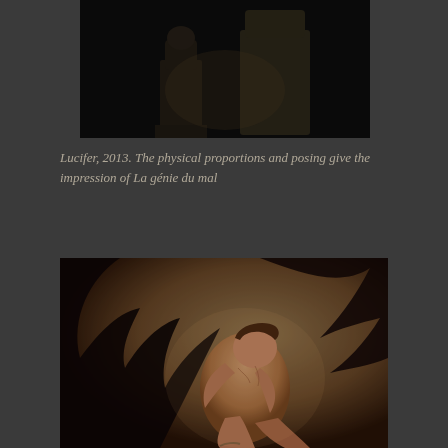[Figure (photo): Dark photograph of stone sculptures or statues, partially visible, with dark tones and shadowy figures]
Lucifer, 2013. The physical proportions and posing give the impression of La génie du mal
[Figure (photo): Classical painting of a winged male figure (fallen angel / Lucifer) with large dark wings, muscular nude body, seated in a despairing pose with head bowed, warm sepia tones]